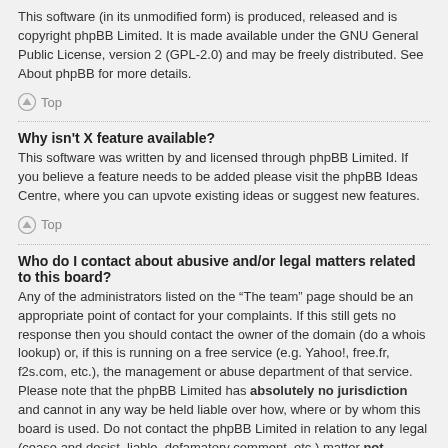This software (in its unmodified form) is produced, released and is copyright phpBB Limited. It is made available under the GNU General Public License, version 2 (GPL-2.0) and may be freely distributed. See About phpBB for more details.
↑ Top
Why isn't X feature available?
This software was written by and licensed through phpBB Limited. If you believe a feature needs to be added please visit the phpBB Ideas Centre, where you can upvote existing ideas or suggest new features.
↑ Top
Who do I contact about abusive and/or legal matters related to this board?
Any of the administrators listed on the "The team" page should be an appropriate point of contact for your complaints. If this still gets no response then you should contact the owner of the domain (do a whois lookup) or, if this is running on a free service (e.g. Yahoo!, free.fr, f2s.com, etc.), the management or abuse department of that service. Please note that the phpBB Limited has absolutely no jurisdiction and cannot in any way be held liable over how, where or by whom this board is used. Do not contact the phpBB Limited in relation to any legal (cease and desist, liable, defamatory comment, etc.) matter not directly related to the phpBB.com